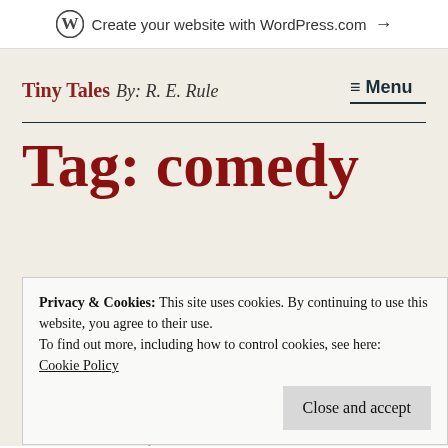Create your website with WordPress.com →
Tiny Tales  By: R. E. Rule
≡ Menu
Tag: comedy
Privacy & Cookies: This site uses cookies. By continuing to use this website, you agree to their use.
To find out more, including how to control cookies, see here:
Cookie Policy
Close and accept